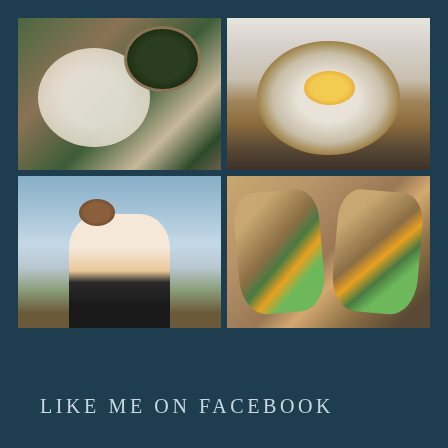[Figure (photo): 2x2 grid of four photos: top-left shows overhead view of food prep with bread, greens, and dark bowl; top-right shows overhead bowl with salad greens, egg, guacamole, and toppings; bottom-left shows smiling woman holding a bird by a bridge waterfront; bottom-right shows two cut food wraps filled with diced sweet potato, cucumber, and vegetables]
LIKE ME ON FACEBOOK